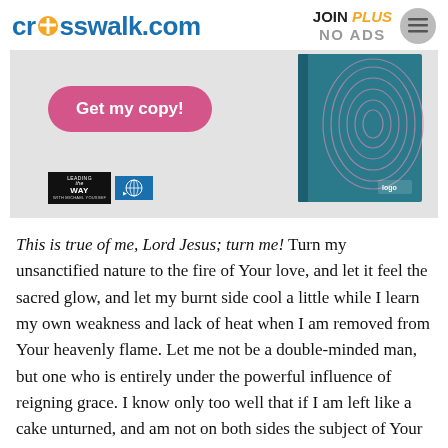crosswalk.com — JOIN PLUS NO ADS
[Figure (infographic): Advertisement banner with pink 'Get my copy!' button, a teal book cover on the right, and Leading The Way and globe logos at the bottom left, on a light gray background.]
This is true of me, Lord Jesus; turn me! Turn my unsanctified nature to the fire of Your love, and let it feel the sacred glow, and let my burnt side cool a little while I learn my own weakness and lack of heat when I am removed from Your heavenly flame. Let me not be a double-minded man, but one who is entirely under the powerful influence of reigning grace. I know only too well that if I am left like a cake unturned, and am not on both sides the subject of Your grace, I will be consumed forever in everlasting